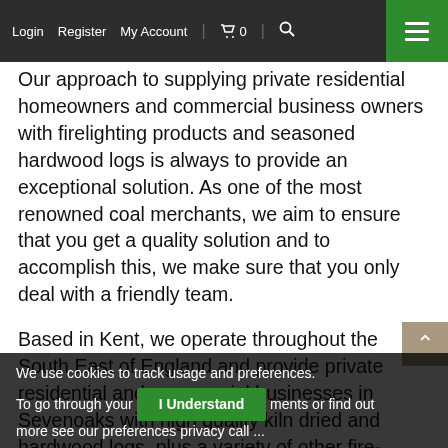Login  Register  My Account  | 🛒 0 | 🔍  ☰
Our approach to supplying private residential homeowners and commercial business owners with firelighting products and seasoned hardwood logs is always to provide an exceptional solution. As one of the most renowned coal merchants, we aim to ensure that you get a quality solution and to accomplish this, we make sure that you only deal with a friendly team.
Based in Kent, we operate throughout the South East of England and provide private residential and commercial businesses in Sevenoaks with high quality kiln dried and hardwood logs, plus a variety of other fire-lighting products.
We use cookies to track usage and preferences. To go through your [I Understand] ments or find out more see our preferences privacy call ...